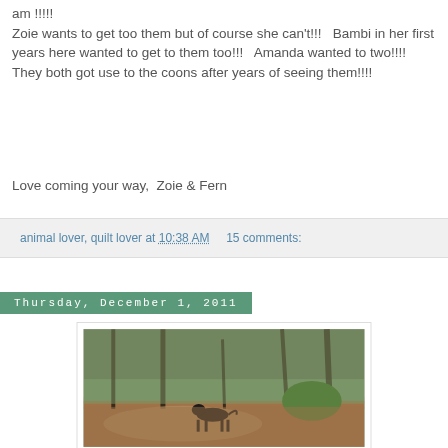am !!!!!
Zoie wants to get too them but of course she can't!!!   Bambi in her first years here wanted to get to them too!!!   Amanda wanted to two!!!! They both got use to the coons after years of seeing them!!!!
Love coming your way,  Zoie & Fern
animal lover, quilt lover at 10:38 AM     15 comments:
Thursday, December 1, 2011
[Figure (photo): A dark dog walking across a dirt clearing in a wooded forest area with pine trees and green shrubs in the background.]